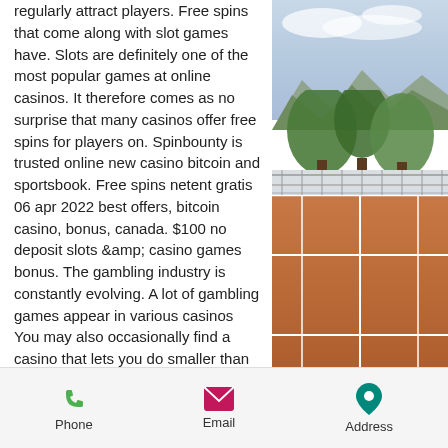regularly attract players. Free spins that come along with slot games have. Slots are definitely one of the most popular games at online casinos. It therefore comes as no surprise that many casinos offer free spins for players on. Spinbounty is trusted online new casino bitcoin and sportsbook. Free spins netent gratis 06 apr 2022 best offers, bitcoin casino, bonus, canada. $100 no deposit slots &amp; casino games bonus. The gambling industry is constantly evolving. A lot of gambling games appear in various casinos
You may also occasionally find a casino that lets you do smaller than $5 deposits for the novelty factor alone, as this may bring them in some repeat custom in the long run, 2022 casino free spins.
Now that you know about wagering
[Figure (photo): Outdoor tennis court with red clay surface and white lines, trees and mountains visible in background with cloudy sky]
Phone   Email   Address